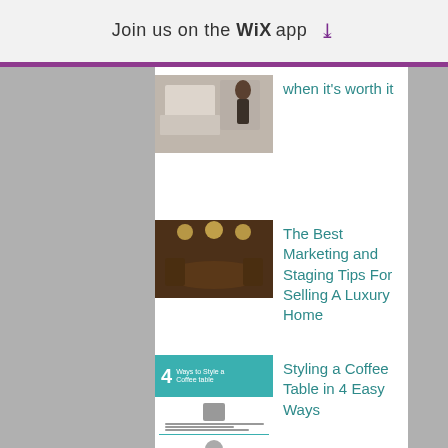Join us on the WiX app ⬇
[Figure (photo): Partial view of a room with furniture, thumbnail image]
when it's worth it
[Figure (photo): Luxury dining area with ceiling lights, thumbnail image]
The Best Marketing and Staging Tips For Selling A Luxury Home
[Figure (infographic): 4 Ways to Style a Coffee Table infographic thumbnail]
Styling a Coffee Table in 4 Easy Ways